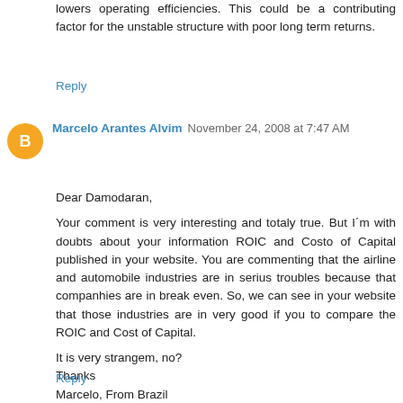lowers operating efficiencies. This could be a contributing factor for the unstable structure with poor long term returns.
Reply
Marcelo Arantes Alvim  November 24, 2008 at 7:47 AM
Dear Damodaran,

Your comment is very interesting and totaly true. But I´m with doubts about your information ROIC and Costo of Capital published in your website. You are commenting that the airline and automobile industries are in serius troubles because that companhies are in break even. So, we can see in your website that those industries are in very good if you to compare the ROIC and Cost of Capital.
It is very strangem, no?
Thanks
Marcelo, From Brazil
Reply